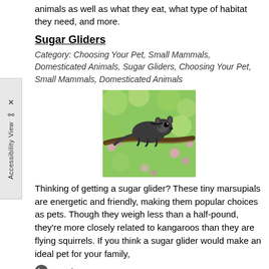animals as well as what they eat, what type of habitat they need, and more.
Sugar Gliders
Category: Choosing Your Pet, Small Mammals, Domesticated Animals, Sugar Gliders, Choosing Your Pet, Small Mammals, Domesticated Animals
[Figure (photo): A sugar glider perched on a tree branch with a blurred green and pink floral background]
Thinking of getting a sugar glider? These tiny marsupials are energetic and friendly, making them popular choices as pets. Though they weigh less than a half-pound, they're more closely related to kangaroos than they are flying squirrels. If you think a sugar glider would make an ideal pet for your family,
Read more